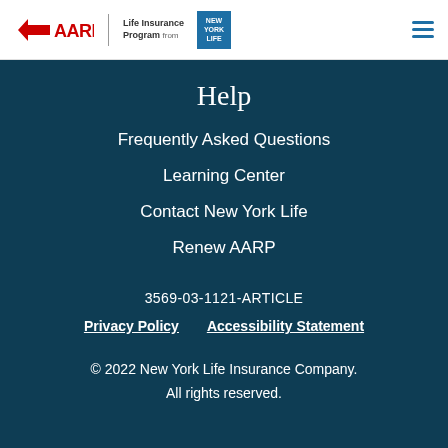AARP Life Insurance Program from New York Life
Help
Frequently Asked Questions
Learning Center
Contact New York Life
Renew AARP
3569-03-1121-ARTICLE
Privacy Policy   Accessibility Statement
© 2022 New York Life Insurance Company. All rights reserved.